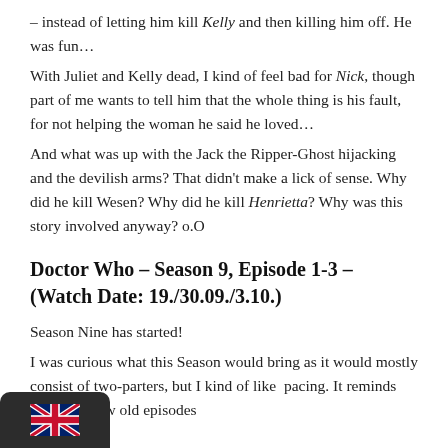– instead of letting him kill Kelly and then killing him off. He was fun…
With Juliet and Kelly dead, I kind of feel bad for Nick, though part of me wants to tell him that the whole thing is his fault, for not helping the woman he said he loved…
And what was up with the Jack the Ripper-Ghost hijacking and the devilish arms? That didn't make a lick of sense. Why did he kill Wesen? Why did he kill Henrietta? Why was this story involved anyway? o.O
Doctor Who – Season 9, Episode 1-3 – (Watch Date: 19./30.09./3.10.)
Season Nine has started!
I was curious what this Season would bring as it would mostly consist of two-parters, but I kind of like pacing. It reminds me of the few old episodes